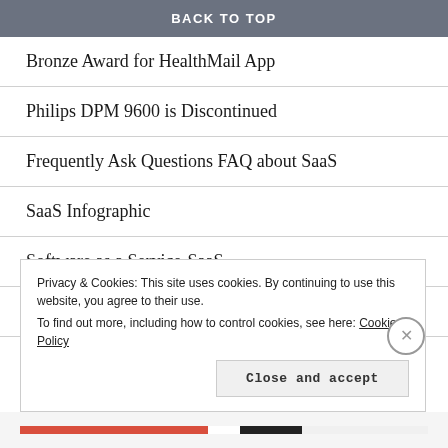BACK TO TOP
Bronze Award for HealthMail App
Philips DPM 9600 is Discontinued
Frequently Ask Questions FAQ about SaaS
SaaS Infographic
Software as a Service-SaaS
ICON aaS Subscriptions
Privacy & Cookies: This site uses cookies. By continuing to use this website, you agree to their use.
To find out more, including how to control cookies, see here: Cookie Policy
Close and accept